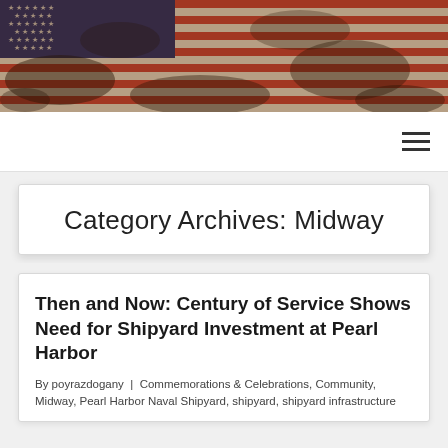[Figure (photo): Distressed American flag image used as website header banner, showing stars and stripes with a worn, aged texture.]
Navigation bar with hamburger menu icon
Category Archives: Midway
Then and Now: Century of Service Shows Need for Shipyard Investment at Pearl Harbor
By poyrazdogany | Commemorations & Celebrations, Community, Midway, Pearl Harbor Naval Shipyard, shipyard, shipyard infrastructure